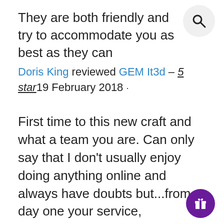They are both friendly and try to accommodate you as best as they can
Doris King reviewed GEM It3d – 5 star 19 February 2018 ·
First time to this new craft and what a team you are. Can only say that I don't usually enjoy doing anything online and always have doubts but...from day one your service, ideas,suggestions on my custom print items, prices and prompt delivery have gone way past putting any fears to rest. I have introduced a few family members to your shop and look forward to my receiving my recent purchases and my custom items in a couple of weeks